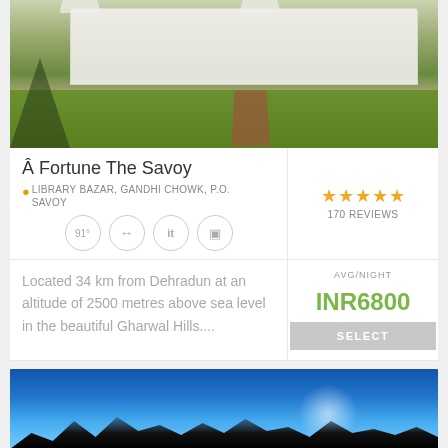[Figure (photo): Exterior photo of Fortune The Savoy hotel building with green lawn and walkway]
Â Fortune The Savoy
LIBRARY BAZAR, GANDHI CHOWK, P.O. SAVOY
[Figure (infographic): Four amenity icons in circles]
★★★★★
170 REVIEWS
Located 34 km from Dehradun at an altitude of 2500 metres above sea level in the beautiful Gharwal Hills....
AVG/NIGHT
INR6800
[Figure (photo): Blue sky with tree silhouettes at bottom, partial hotel view]